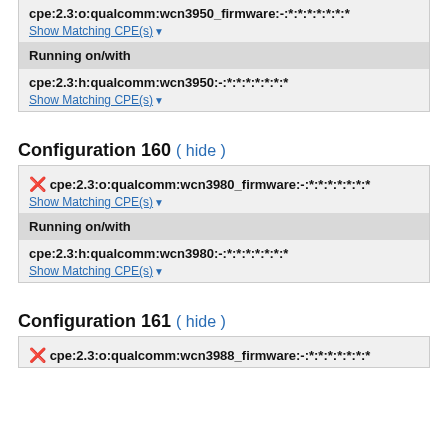cpe:2.3:o:qualcomm:wcn3950_firmware:-:*:*:*:*:*:*:*
Show Matching CPE(s)
Running on/with
cpe:2.3:h:qualcomm:wcn3950:-:*:*:*:*:*:*:*
Show Matching CPE(s)
Configuration 160 ( hide )
cpe:2.3:o:qualcomm:wcn3980_firmware:-:*:*:*:*:*:*:*
Show Matching CPE(s)
Running on/with
cpe:2.3:h:qualcomm:wcn3980:-:*:*:*:*:*:*:*
Show Matching CPE(s)
Configuration 161 ( hide )
cpe:2.3:o:qualcomm:wcn3988_firmware:-:*:*:*:*:*:*:*